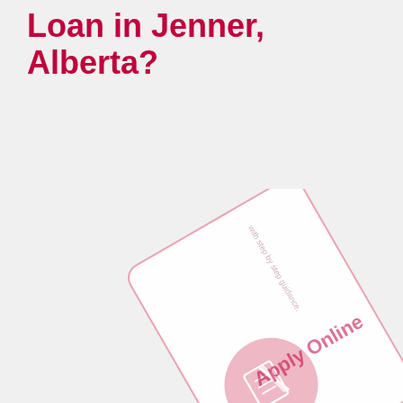Loan in Jenner, Alberta?
[Figure (illustration): A rotated card/brochure graphic with a pink circle containing a document/money icon, text reading 'Apply Online' and 'with step by step guidance.' on the card, rendered in light pink tones on a light grey background.]